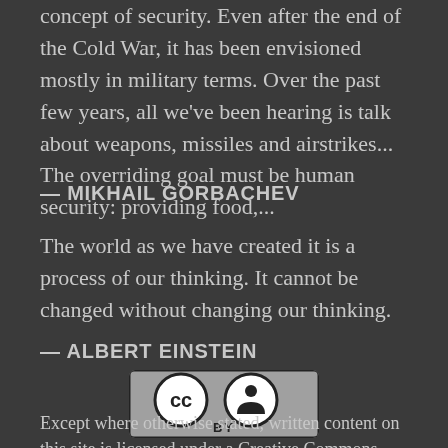concept of security. Even after the end of the Cold War, it has been envisioned mostly in military terms. Over the past few years, all we've been hearing is talk about weapons, missiles and airstrikes... The overriding goal must be human security: providing food,...
— MIKHAIL GORBACHEV
The world as we have created it is a process of our thinking. It cannot be changed without changing our thinking.
— ALBERT EINSTEIN
[Figure (logo): Creative Commons BY license badge with CC and person icon circles on gray background]
Except where otherwise stated, written content on this site is licensed under a Creative Commons Attribution 4.0